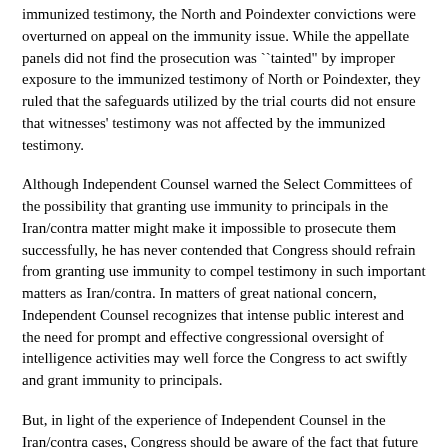immunized testimony, the North and Poindexter convictions were overturned on appeal on the immunity issue. While the appellate panels did not find the prosecution was ``tainted" by improper exposure to the immunized testimony of North or Poindexter, they ruled that the safeguards utilized by the trial courts did not ensure that witnesses' testimony was not affected by the immunized testimony.
Although Independent Counsel warned the Select Committees of the possibility that granting use immunity to principals in the Iran/contra matter might make it impossible to prosecute them successfully, he has never contended that Congress should refrain from granting use immunity to compel testimony in such important matters as Iran/contra. In matters of great national concern, Independent Counsel recognizes that intense public interest and the need for prompt and effective congressional oversight of intelligence activities may well force the Congress to act swiftly and grant immunity to principals.
But, in light of the experience of Independent Counsel in the Iran/contra cases, Congress should be aware of the fact that future immunity grants, at least in such highly publicized cases, will likely rule out criminal prosecution.
Congressional action that precludes, or makes it impossible to sustain, a prosecution has more serious consequences than simply